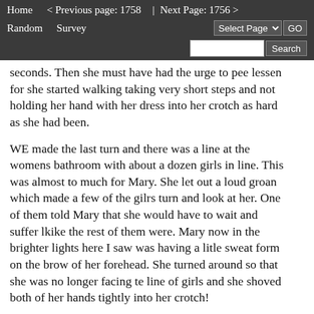Home   < Previous page: 1758  |  Next Page: 1756 >   Random   Survey   Select Page ▾  GO   Search
seconds. Then she must have had the urge to pee lessen for she started walking taking very short steps and not holding her hand with her dress into her crotch as hard as she had been.
WE made the last turn and there was a line at the womens bathroom with about a dozen girls in line. This was almost to much for Mary. She let out a loud groan which made a few of the gilrs turn and look at her. One of them told Mary that she would have to wait and suffer lkike the rest of them were. Mary now in the brighter lights here I saw was having a litle sweat form on the brow of her forehead. She turned around so that she was no longer facing te line of girls and she shoved both of her hands tightly into her crotch!
She let out a soft groan and she bent over at her waist. Her face turned a little red for several seconds as she was fighting for control to keep from peeing herself. She fought for I would have guessed a good half minute. She